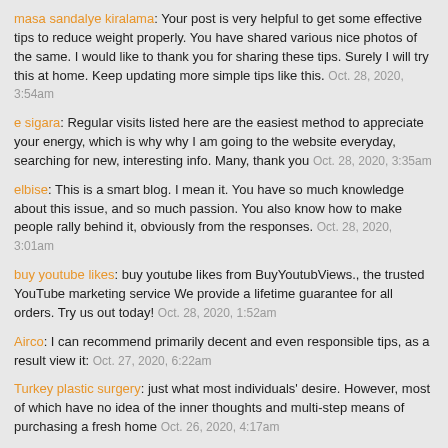masa sandalye kiralama: Your post is very helpful to get some effective tips to reduce weight properly. You have shared various nice photos of the same. I would like to thank you for sharing these tips. Surely I will try this at home. Keep updating more simple tips like this. Oct. 28, 2020, 3:54am
e sigara: Regular visits listed here are the easiest method to appreciate your energy, which is why why I am going to the website everyday, searching for new, interesting info. Many, thank you Oct. 28, 2020, 3:35am
elbise: This is a smart blog. I mean it. You have so much knowledge about this issue, and so much passion. You also know how to make people rally behind it, obviously from the responses. Oct. 28, 2020, 3:01am
buy youtube likes: buy youtube likes from BuyYoutubViews., the trusted YouTube marketing service We provide a lifetime guarantee for all orders. Try us out today! Oct. 28, 2020, 1:52am
Airco: I can recommend primarily decent and even responsible tips, as a result view it: Oct. 27, 2020, 6:22am
Turkey plastic surgery: just what most individuals' desire. However, most of which have no idea of the inner thoughts and multi-step means of purchasing a fresh home Oct. 26, 2020, 4:17am
açilis organizasyonu: This content is written very well. Your use of formatting when making your points makes your observations very clear and easy to understand. Thank you. Oct. 22, 2020, 3:40pm
su yumu_atma cihaz1: Awesome review, I am a major devotee to remarking on web journals to educate the web journal scholars realize that they've added something beneficial to the internet! Oct. 22, 2020, 2:11pm